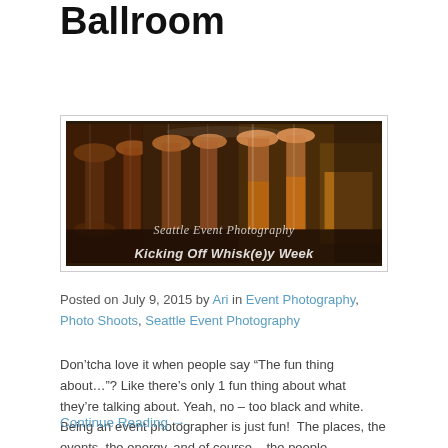Ballroom
[Figure (photo): Photo of whisky glasses lined up at an event, with overlay text 'Seattle Event Photography' and 'Kicking Off Whisk(e)y Week']
Posted on July 9, 2015 by Ari in Event Photography, Photo Shoots, Seattle Event Photography
Don’tcha love it when people say “The fun thing about…”? Like there’s only 1 fun thing about what they’re talking about. Yeah, no – too black and white.  Being an event photographer is just fun!  The places, the events, the energy, and of course – the people.  Shooting events in the liquor industry?  Those are […]
Continue Reading →